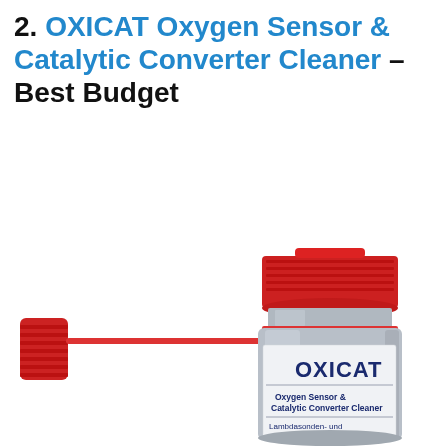2. OXICAT Oxygen Sensor & Catalytic Converter Cleaner – Best Budget
[Figure (photo): Photo of OXICAT Oxygen Sensor & Catalytic Converter Cleaner product can with red spray nozzle cap on white background. The can has a red screw cap on top, a gray metallic body, and a white label showing 'OXICAT' in large dark blue bold text, 'Oxygen Sensor & Catalytic Converter Cleaner' in smaller dark blue text, a horizontal line separator, and 'Lambdasonden- und Katalysatorreiniger' in dark blue text at the bottom.]